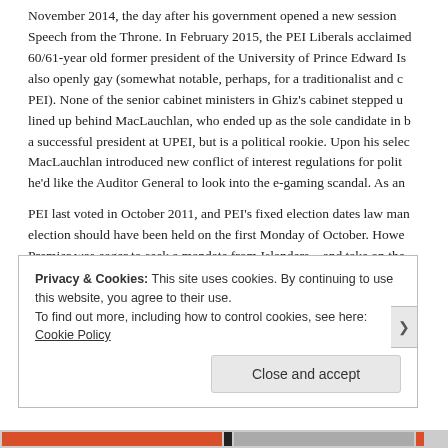November 2014, the day after his government opened a new session Speech from the Throne. In February 2015, the PEI Liberals acclaimed 60/61-year old former president of the University of Prince Edward Is also openly gay (somewhat notable, perhaps, for a traditionalist and c PEI). None of the senior cabinet ministers in Ghiz's cabinet stepped u lined up behind MacLauchlan, who ended up as the sole candidate in b a successful president at UPEI, but is a political rookie. Upon his selec MacLauchlan introduced new conflict of interest regulations for polit he'd like the Auditor General to look into the e-gaming scandal. As an
PEI last voted in October 2011, and PEI's fixed election dates law man election should have been held on the first Monday of October. Howe Premier was eager to seek a mandate from Islanders – and take on the especially the PCs, before they were quite ready – so he dropped the
Privacy & Cookies: This site uses cookies. By continuing to use this website, you agree to their use.
To find out more, including how to control cookies, see here: Cookie Policy